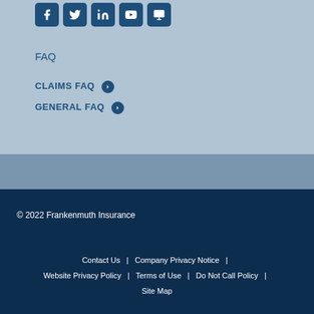[Figure (illustration): Social media icons: Facebook, Twitter, LinkedIn, YouTube, and a fifth icon in dark blue rounded square boxes]
FAQ
CLAIMS FAQ →
GENERAL FAQ →
© 2022 Frankenmuth Insurance
Contact Us | Company Privacy Notice | Website Privacy Policy | Terms of Use | Do Not Call Policy | Site Map